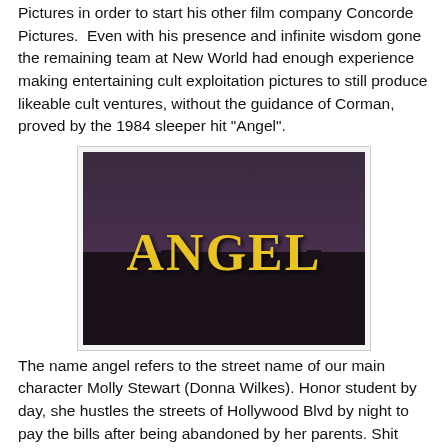Pictures in order to start his other film company Concorde Pictures.  Even with his presence and infinite wisdom gone the remaining team at New World had enough experience making entertaining cult exploitation pictures to still produce likeable cult ventures, without the guidance of Corman, proved by the 1984 sleeper hit "Angel".
[Figure (photo): Movie title card for 'ANGEL' showing large yellow block letters spelling ANGEL against a dark cityscape/skyline background with a purple-grey sky]
The name angel refers to the street name of our main character Molly Stewart (Donna Wilkes). Honor student by day, she hustles the streets of Hollywood Blvd by night to pay the bills after being abandoned by her parents. Shit turns worse when a serial killer starts brutally murdering her friends and she goes all Charles Bronson to take her revenge. Can a vice cop help her catch the killer while at the same time convincing her to get off the streets for good?